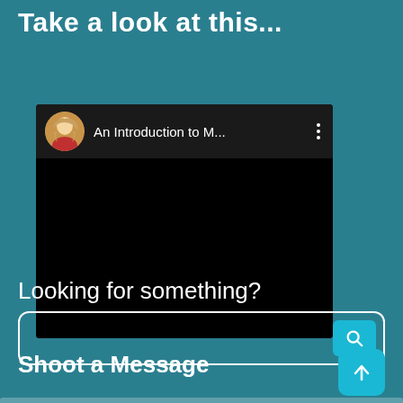Take a look at this...
[Figure (screenshot): Video player card showing a circular avatar of a blonde woman in a red coat, with title 'An Introduction to M...' and three-dot menu icon, with black video area below]
Looking for something?
[Figure (screenshot): Search input box with a teal search button containing a magnifying glass icon, framed by white rounded border]
Shoot a Message
[Figure (screenshot): Teal rounded square button with upward arrow icon (scroll-to-top or send button)]